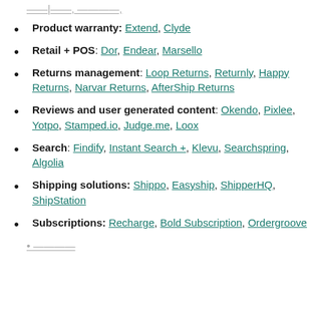Product warranty: Extend, Clyde
Retail + POS: Dor, Endear, Marsello
Returns management: Loop Returns, Returnly, Happy Returns, Narvar Returns, AfterShip Returns
Reviews and user generated content: Okendo, Pixlee, Yotpo, Stamped.io, Judge.me, Loox
Search: Findify, Instant Search +, Klevu, Searchspring, Algolia
Shipping solutions: Shippo, Easyship, ShipperHQ, ShipStation
Subscriptions: Recharge, Bold Subscription, Ordergroove